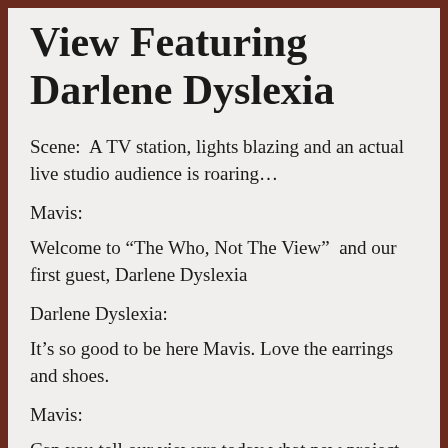View Featuring Darlene Dyslexia
Scene:  A TV station, lights blazing and an actual live studio audience is roaring…
Mavis:
Welcome to “The Who, Not The View”  and our first guest, Darlene Dyslexia
Darlene Dyslexia:
It’s so good to be here Mavis. Love the earrings and shoes.
Mavis:
Can you tell our viewers today what new project you’ve taken on?